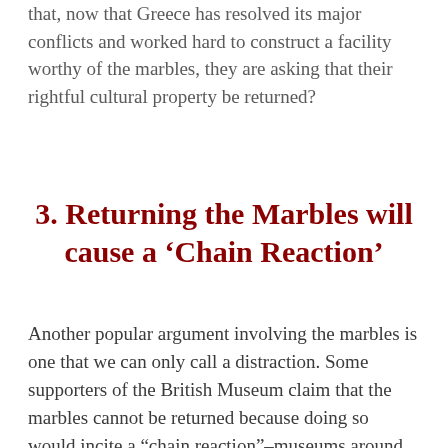that, now that Greece has resolved its major conflicts and worked hard to construct a facility worthy of the marbles, they are asking that their rightful cultural property be returned?
3. Returning the Marbles will cause a ‘Chain Reaction’
Another popular argument involving the marbles is one that we can only call a distraction. Some supporters of the British Museum claim that the marbles cannot be returned because doing so would incite a “chain reaction”–museums around the world would be emptied of their collections as other countries and cultures ask for artifacts and works of art to be returned.